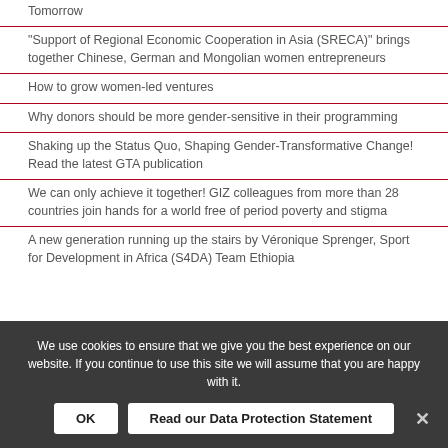Tomorrow
“Support of Regional Economic Cooperation in Asia (SRECA)” brings together Chinese, German and Mongolian women entrepreneurs
How to grow women-led ventures
Why donors should be more gender-sensitive in their programming
Shaking up the Status Quo, Shaping Gender-Transformative Change! Read the latest GTA publication
We can only achieve it together! GIZ colleagues from more than 28 countries join hands for a world free of period poverty and stigma
A new generation running up the stairs by Véronique Sprenger, Sport for Development in Africa (S4DA) Team Ethiopia
We use cookies to ensure that we give you the best experience on our website. If you continue to use this site we will assume that you are happy with it.